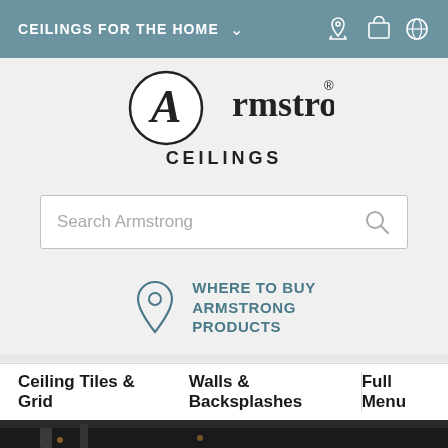CEILINGS FOR THE HOME
[Figure (logo): Armstrong Ceilings logo with circular A emblem and text 'Armstrong CEILINGS']
Search Armstrong
WHERE TO BUY ARMSTRONG PRODUCTS
Ceiling Tiles & Grid
Walls & Backsplashes
Full Menu
[Figure (photo): Interior industrial ceiling photo showing exposed ductwork, metal pipes, dark ceiling structure, and warm pendant lights]